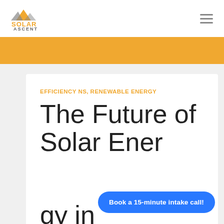[Figure (logo): Solar Ascent logo: orange/grey mountain triangle icon above the text SOLAR in orange and ASCENT in grey]
EFFICIENCY NS, RENEWABLE ENERGY
The Future of Solar Energy in
Book a 15-minute intake call!